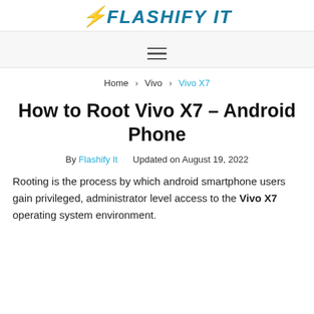Flashify It
Navigation menu
Home > Vivo > Vivo X7
How to Root Vivo X7 – Android Phone
By Flashify It   Updated on August 19, 2022
Rooting is the process by which android smartphone users gain privileged, administrator level access to the Vivo X7 operating system environment.